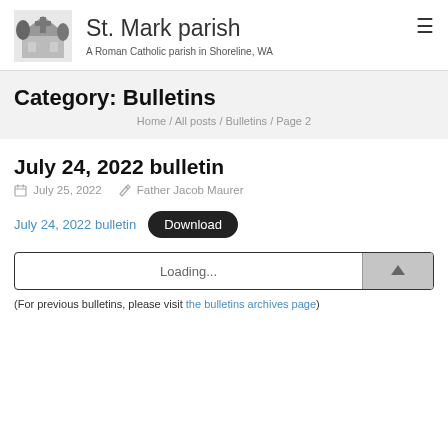St. Mark parish — A Roman Catholic parish in Shoreline, WA
Category: Bulletins
Home / All posts / Bulletins / Page 2
July 24, 2022 bulletin
July 25, 2022   Father Jacob Maurer
July 24, 2022 bulletin   Download
Loading...
(For previous bulletins, please visit the bulletins archives page)